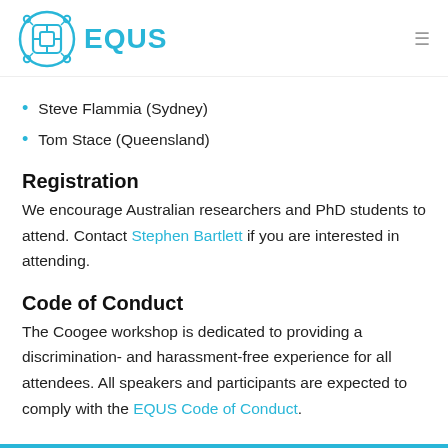[Figure (logo): EQUUS logo: circular blue icon with a microchip/network graphic, followed by the text EQUUS in bold cyan/blue]
Steve Flammia (Sydney)
Tom Stace (Queensland)
Registration
We encourage Australian researchers and PhD students to attend. Contact Stephen Bartlett if you are interested in attending.
Code of Conduct
The Coogee workshop is dedicated to providing a discrimination- and harassment-free experience for all attendees. All speakers and participants are expected to comply with the EQUUS Code of Conduct.